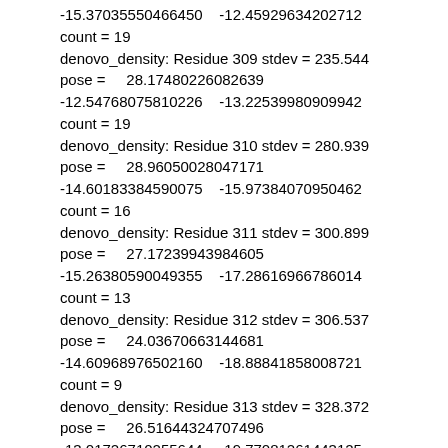-15.37035550466450    -12.45929634202712
count = 19
denovo_density: Residue 309 stdev = 235.544
pose =     28.17480226082639
-12.54768075810226    -13.22539980909942
count = 19
denovo_density: Residue 310 stdev = 280.939
pose =     28.96050028047171
-14.60183384590075    -15.97384070950462
count = 16
denovo_density: Residue 311 stdev = 300.899
pose =     27.17239943984605
-15.26380590049355    -17.28616966786014
count = 13
denovo_density: Residue 312 stdev = 306.537
pose =     24.03670663144681
-14.60968976502160    -18.88841858008721
count = 9
denovo_density: Residue 313 stdev = 328.372
pose =     26.51644324707496
-13.01726710255644    -19.77081261443125
count = 6
denovo_density: Residue 314 stdev = 352.775